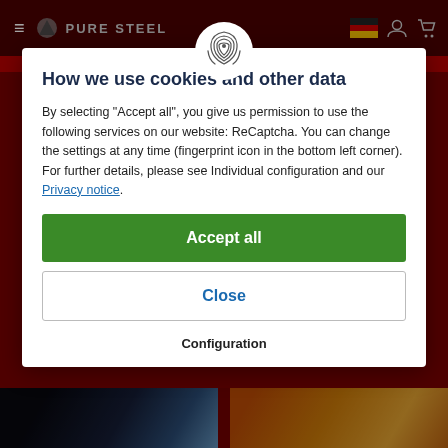[Figure (screenshot): Dark red website header bar with hamburger menu, Pure Steel logo, fingerprint icon, German flag icon, user icon, and cart icon]
How we use cookies and other data
By selecting "Accept all", you give us permission to use the following services on our website: ReCaptcha. You can change the settings at any time (fingerprint icon in the bottom left corner). For further details, please see Individual configuration and our Privacy notice.
Accept all
Close
Configuration
[Figure (photo): Two partial product images at bottom: left shows a dark sci-fi mechanical/robot themed image; right shows orange/yellow food or decorative item]